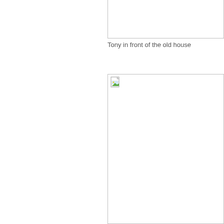[Figure (photo): Partially visible image placeholder with light gray border, top portion cut off, showing only the bottom portion of an image area]
Tony in front of the old house
[Figure (photo): Image placeholder with broken image icon (small document with green/blue colors) in top-left corner, large white/empty image area with light gray border]